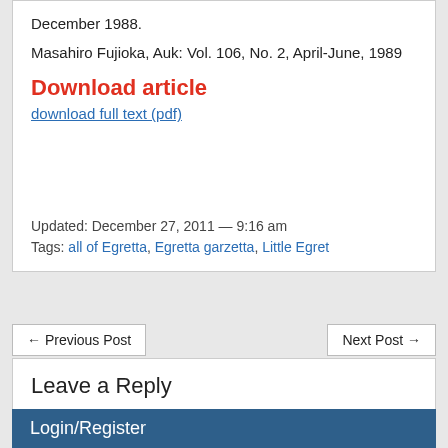December 1988.
Masahiro Fujioka, Auk: Vol. 106, No. 2, April-June, 1989
Download article
download full text (pdf)
Updated: December 27, 2011 — 9:16 am
Tags: all of Egretta, Egretta garzetta, Little Egret
← Previous Post
Next Post →
Leave a Reply
You must be logged in to post a comment.
Login/Register